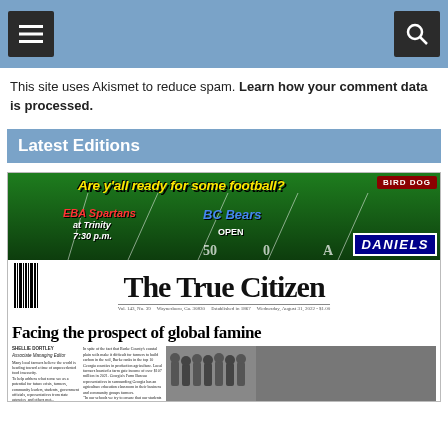[Figure (screenshot): Navigation header bar with hamburger menu icon on the left and search icon on the right, on a steel blue background]
This site uses Akismet to reduce spam. Learn how your comment data is processed.
Latest Editions
[Figure (photo): Newspaper front page of The True Citizen, Waynesboro, GA. Features a football banner ad reading 'Are y'all ready for some football? EBA Spartans at Trinity 7:30 p.m. / BC Bears OPEN' with Bird Dog and Daniels Chevrolet ads. Below is the newspaper masthead 'The True Citizen', Vol. 143, No. 39, Waynesboro, Ga. 30830, Established in 1867, Wednesday, August 31, 2022 - $1.00. Headline: 'Facing the prospect of global famine' with columns of article text and a photo of students.]